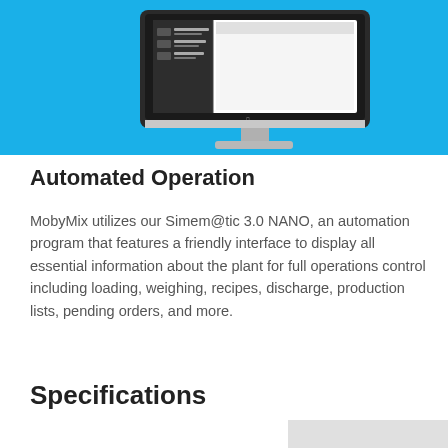[Figure (screenshot): iMac computer displaying the Simem@tic 3.0 NANO automation software interface, shown on a bright blue background.]
Automated Operation
MobyMix utilizes our Simem@tic 3.0 NANO, an automation program that features a friendly interface to display all essential information about the plant for full operations control including loading, weighing, recipes, discharge, production lists, pending orders, and more.
Specifications